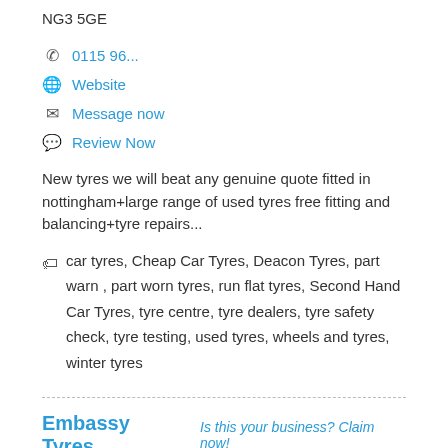NG3 5GE
0115 96...
Website
Message now
Review Now
New tyres we will beat any genuine quote fitted in nottingham+large range of used tyres free fitting and balancing+tyre repairs...
car tyres, Cheap Car Tyres, Deacon Tyres, part warn , part worn tyres, run flat tyres, Second Hand Car Tyres, tyre centre, tyre dealers, tyre safety check, tyre testing, used tyres, wheels and tyres, winter tyres
Embassy Tyres
Is this your business? Claim now!
659-663 Nuthall Road, Nottingham, Nottinghamshire